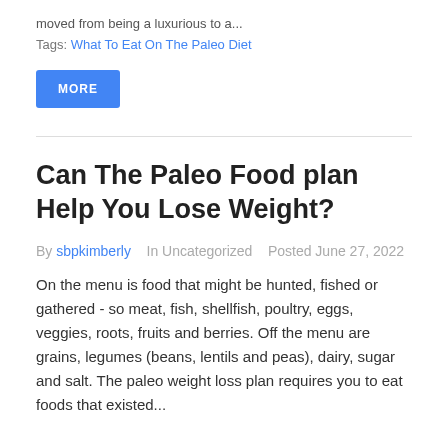moved from being a luxurious to a...
Tags: What To Eat On The Paleo Diet
MORE
Can The Paleo Food plan Help You Lose Weight?
By sbpkimberly   In Uncategorized   Posted June 27, 2022
On the menu is food that might be hunted, fished or gathered - so meat, fish, shellfish, poultry, eggs, veggies, roots, fruits and berries. Off the menu are grains, legumes (beans, lentils and peas), dairy, sugar and salt. The paleo weight loss plan requires you to eat foods that existed...